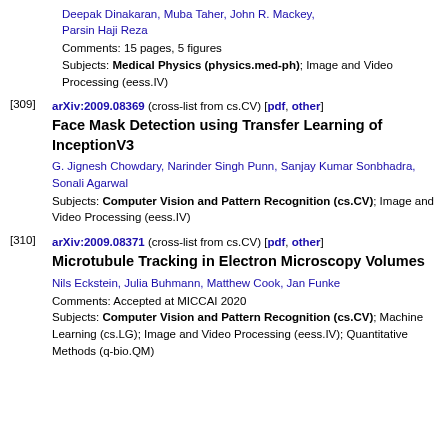Deepak Dinakaran, Muba Taher, John R. Mackey, Parsin Haji Reza
Comments: 15 pages, 5 figures
Subjects: Medical Physics (physics.med-ph); Image and Video Processing (eess.IV)
[309] arXiv:2009.08369 (cross-list from cs.CV) [pdf, other]
Face Mask Detection using Transfer Learning of InceptionV3
G. Jignesh Chowdary, Narinder Singh Punn, Sanjay Kumar Sonbhadra, Sonali Agarwal
Subjects: Computer Vision and Pattern Recognition (cs.CV); Image and Video Processing (eess.IV)
[310] arXiv:2009.08371 (cross-list from cs.CV) [pdf, other]
Microtubule Tracking in Electron Microscopy Volumes
Nils Eckstein, Julia Buhmann, Matthew Cook, Jan Funke
Comments: Accepted at MICCAI 2020
Subjects: Computer Vision and Pattern Recognition (cs.CV); Machine Learning (cs.LG); Image and Video Processing (eess.IV); Quantitative Methods (q-bio.QM)